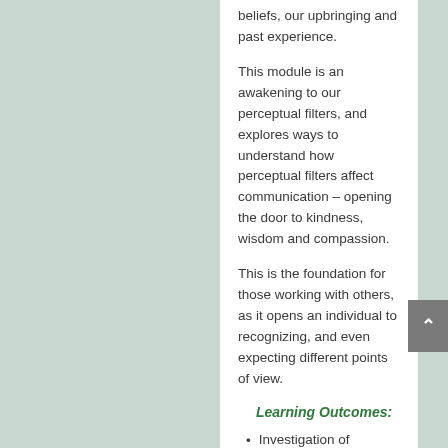beliefs, our upbringing and past experience.
This module is an awakening to our perceptual filters, and explores ways to understand how perceptual filters affect communication – opening the door to kindness, wisdom and compassion.
This is the foundation for those working with others, as it opens an individual to recognizing, and even expecting different points of view.
Learning Outcomes:
Investigation of sensory perception and how perceptual